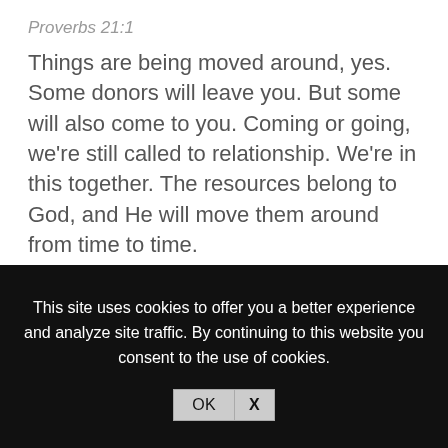Proverbs 21:1
Things are being moved around, yes. Some donors will leave you. But some will also come to you. Coming or going, we're still called to relationship. We're in this together. The resources belong to God, and He will move them around from time to time.
This site uses cookies to offer you a better experience and analyze site traffic. By continuing to this website you consent to the use of cookies.